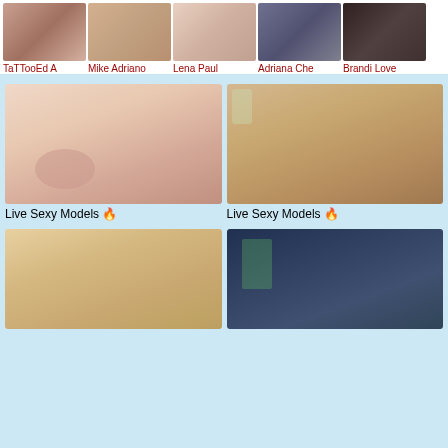[Figure (photo): Top row of 5 thumbnail images with labels: TaTTooEd A, Mike Adriano, Lena Paul, Adriana Che, Brandi Love]
[Figure (photo): Large photo left - redhead woman close-up]
Live Sexy Models 🔥
[Figure (photo): Large photo right - blonde woman with tattoos in hotel room]
Live Sexy Models 🔥
[Figure (photo): Bottom left - blonde woman]
[Figure (photo): Bottom right - woman with green hair]